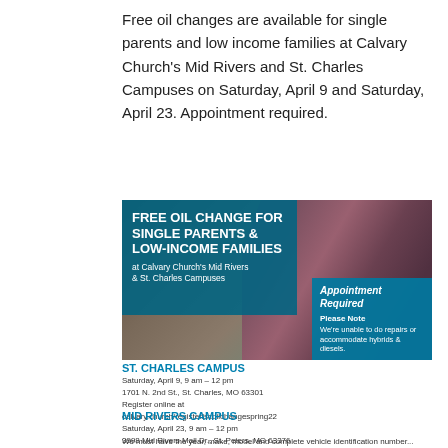Free oil changes are available for single parents and low income families at Calvary Church's Mid Rivers and St. Charles Campuses on Saturday, April 9 and Saturday, April 23. Appointment required.
[Figure (photo): Flyer for Free Oil Change for Single Parents & Low-Income Families at Calvary Church's Mid Rivers & St. Charles Campuses. Shows a person in a plaid shirt working on a car engine. Text overlays include headline on teal background and 'Appointment Required / Please Note' box.]
ST. CHARLES CAMPUS
Saturday, April 9, 9 am – 12 pm
1701 N. 2nd St., St. Charles, MO 63301
Register online at calvary.church/register/scoilchangespring22
MID RIVERS CAMPUS
Saturday, April 23, 9 am – 12 pm
3998 Mid Rivers Mall Dr., St. Peters, MO 63376
Register online at calvary.church/register/mroilchangespring22
We must have the year, make, model and complete vehicle identification number...